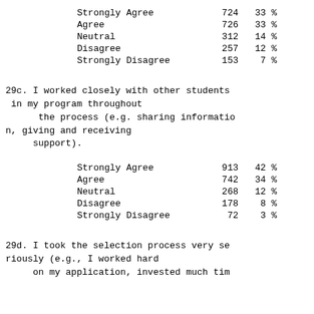| Response | Count | Pct |
| --- | --- | --- |
| Strongly Agree | 724 | 33 % |
| Agree | 726 | 33 % |
| Neutral | 312 | 14 % |
| Disagree | 257 | 12 % |
| Strongly Disagree | 153 | 7 % |
29c. I worked closely with other students in my program throughout the process (e.g. sharing information, giving and receiving support).
| Response | Count | Pct |
| --- | --- | --- |
| Strongly Agree | 913 | 42 % |
| Agree | 742 | 34 % |
| Neutral | 268 | 12 % |
| Disagree | 178 | 8 % |
| Strongly Disagree | 72 | 3 % |
29d. I took the selection process very seriously (e.g., I worked hard on my application, invested much tim